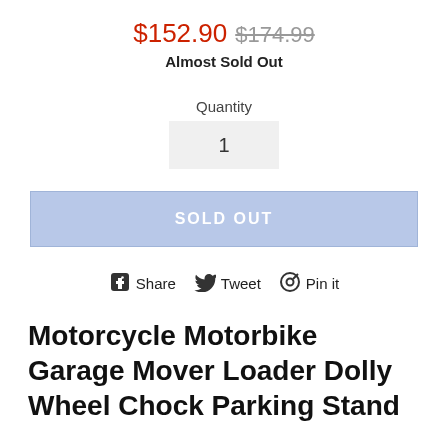$152.90  $174.99
Almost Sold Out
Quantity
1
SOLD OUT
Share  Tweet  Pin it
Motorcycle Motorbike Garage Mover Loader Dolly Wheel Chock Parking Stand